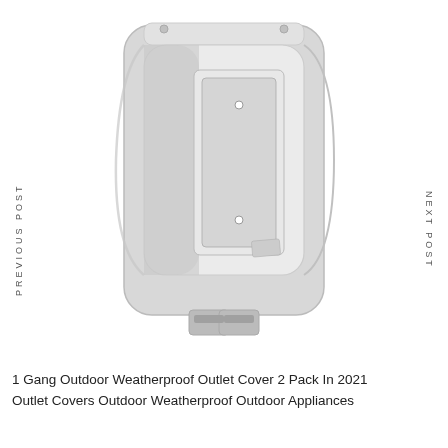[Figure (photo): A clear/transparent 1 Gang outdoor weatherproof outlet cover box with bubble cover, shown open from the front, with gray side navigation bands on left and right edges of the page]
PREVIOUS POST
NEXT POST
1 Gang Outdoor Weatherproof Outlet Cover 2 Pack In 2021 Outlet Covers Outdoor Weatherproof Outdoor Appliances